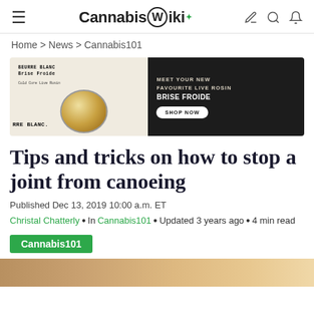CannabisWiki
Home > News > Cannabis101
[Figure (photo): Advertisement banner for Beurre Blanc Brise Froide live rosin cannabis product with a jar and shop now button]
Tips and tricks on how to stop a joint from canoeing
Published Dec 13, 2019 10:00 a.m. ET
Christal Chatterly • In Cannabis101 • Updated 3 years ago • 4 min read
Cannabis101
[Figure (photo): Partial photo at the bottom of the page]